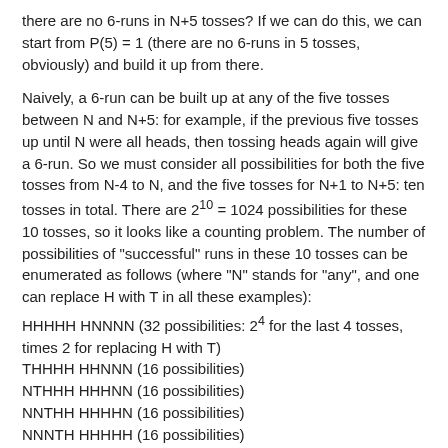there are no 6-runs in N+5 tosses? If we can do this, we can start from P(5) = 1 (there are no 6-runs in 5 tosses, obviously) and build it up from there.
Naively, a 6-run can be built up at any of the five tosses between N and N+5: for example, if the previous five tosses up until N were all heads, then tossing heads again will give a 6-run. So we must consider all possibilities for both the five tosses from N-4 to N, and the five tosses for N+1 to N+5: ten tosses in total. There are 2^10 = 1024 possibilities for these 10 tosses, so it looks like a counting problem. The number of possibilities of "successful" runs in these 10 tosses can be enumerated as follows (where "N" stands for "any", and one can replace H with T in all these examples):
HHHHH HNNNN (32 possibilities: 2^4 for the last 4 tosses, times 2 for replacing H with T)
THHHH HHNNN (16 possibilities)
NTHHH HHHNN (16 possibilities)
NNTHH HHHHN (16 possibilities)
NNNTH HHHHH (16 possibilities)
for a total of 96 possibilities. There are then 1024-96 = 928 cases where there is no run of 6 heads or tails. So the